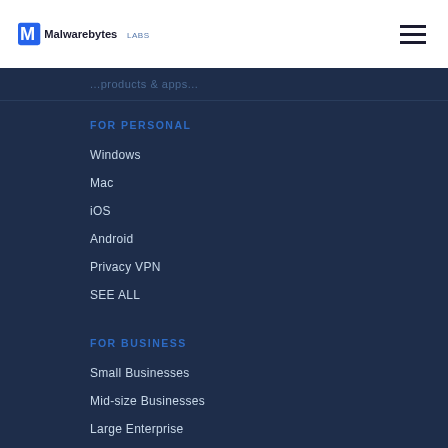Malwarebytes LABS
...partial navigation text...
FOR PERSONAL
Windows
Mac
iOS
Android
Privacy VPN
SEE ALL
FOR BUSINESS
Small Businesses
Mid-size Businesses
Large Enterprise
Endpoint Protection
Endpoint Detection & Response